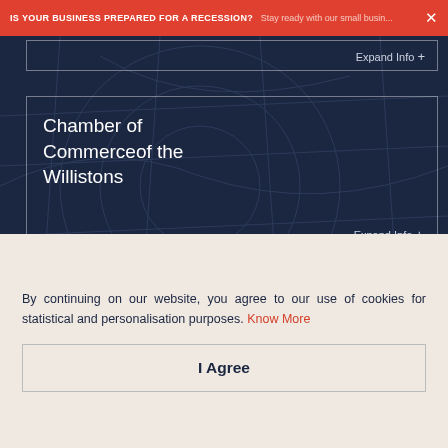IS YOUR BUSINESS PREPARED FOR A RECESSION? Stay ready with our small busin... ×
Chamber of Commerceof the Willistons
Expand Info +
Windham Chamber of Commerce
Expand Info +
By continuing on our website, you agree to our use of cookies for statistical and personalisation purposes. Know More
I Agree